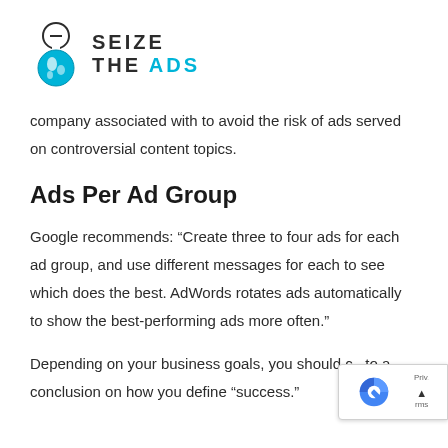[Figure (logo): Seize The Ads logo with stylized globe/anchor icon and text 'SEIZE THE ADS' where ADS is in cyan/teal color]
company associated with to avoid the risk of ads served on controversial content topics.
Ads Per Ad Group
Google recommends: “Create three to four ads for each ad group, and use different messages for each to see which does the best. AdWords rotates ads automatically to show the best-performing ads more often.”
Depending on your business goals, you should come to a conclusion on how you define “success.”